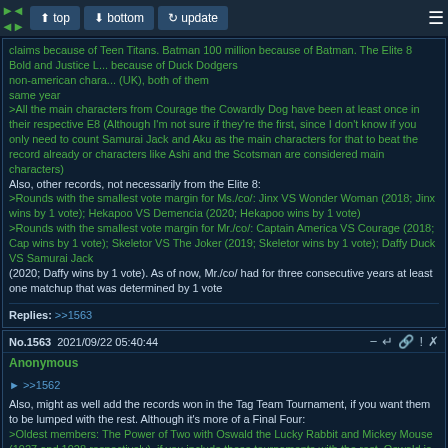top | bottom | update navigation bar
claims because of Teen Titans. Batman 100 million because of Batman. The Elite 8 Bold and Justice L... because of Duck Dodgers non-american chara... (UK), both of them same year
>All the main characters from Courage the Cowardly Dog have been at least once in their respective E8 (Although I'm not sure if they're the first, since I don't know if you only need to count Samurai Jack and Aku as the main characters for that to beat the record already or characters like Ashi and the Scotsman are considered main characters)
Also, other records, not necessarily from the Elite 8:
>Rounds with the smallest vote margin for Ms./co/: Jinx VS Wonder Woman (2018; Jinx wins by 1 vote); Hekapoo VS Demencia (2020; Hekapoo wins by 1 vote)
>Rounds with the smallest vote margin for Mr./co/: Captain America VS Courage (2018; Cap wins by 1 vote); Skeletor VS The Joker (2019; Skeletor wins by 1 vote); Daffy Duck VS Samurai Jack
(2020; Daffy wins by 1 vote). As of now, Mr./co/ had for three consecutive years at least one matchup that was determined by 1 vote
Replies: >>1563
No.1563  2021/09/22 05:40:44
Anonymous
>>1562
Also, might as well add the records won in the Tag Team Tournament, if you want them to be lumped with the rest. Although it's more of a Final Four:
>Oldest members: The Power of Two with Oswald the Lucky Rabbit and Mickey Mouse (1927 and 1928 respectively), if you include these tournaments with the rest, Oswald is the oldest finalist
>Youngest members: North Pole Express with Klaus and Jesper Johansson (November 2019), if included, they are both the youngest finalists
>The Freelance Police (Sam and Max) are the first winners that originated from a comic
>The Wiley Eggs (Robotnik and Dr. Wiley) are the first finalists that didn't originate from a comic or a cartoon
Post reply